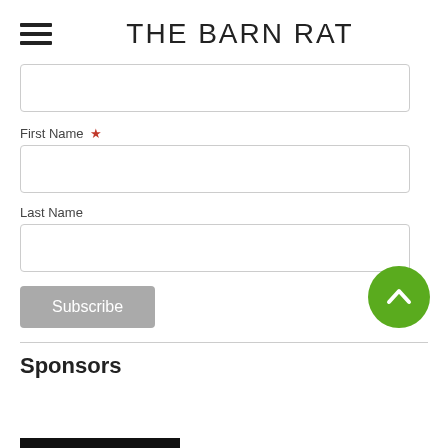THE BARN RAT
First Name *
Last Name
Subscribe
Sponsors